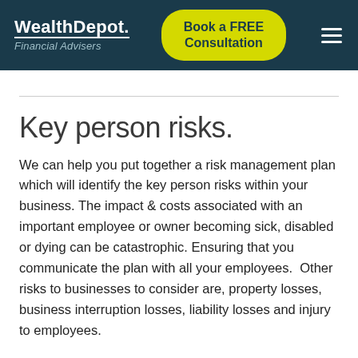WealthDepot. Financial Advisers | Book a FREE Consultation
Key person risks.
We can help you put together a risk management plan which will identify the key person risks within your business. The impact & costs associated with an important employee or owner becoming sick, disabled or dying can be catastrophic. Ensuring that you communicate the plan with all your employees.  Other risks to businesses to consider are, property losses, business interruption losses, liability losses and injury to employees.